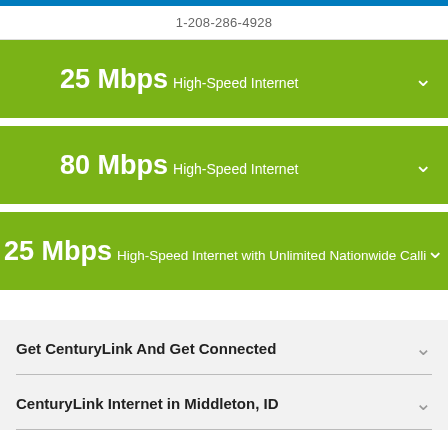1-208-286-4928
25 Mbps High-Speed Internet
80 Mbps High-Speed Internet
25 Mbps High-Speed Internet with Unlimited Nationwide Calling
Get CenturyLink And Get Connected
CenturyLink Internet in Middleton, ID